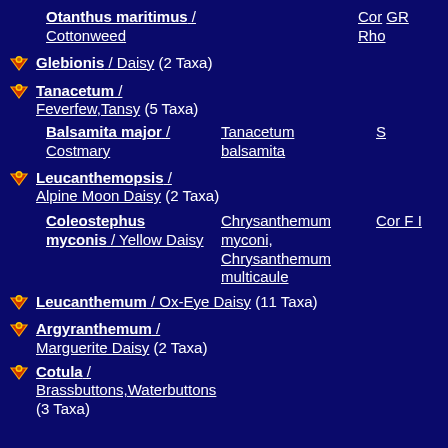Otanthus maritimus / Cottonweed    Cor GR Rho
Glebionis / Daisy (2 Taxa)
Tanacetum / Feverfew,Tansy (5 Taxa)
Balsamita major / Costmary    Tanacetum balsamita    S
Leucanthemopsis / Alpine Moon Daisy (2 Taxa)
Coleostephus myconis / Yellow Daisy    Chrysanthemum myconi, Chrysanthemum multicaule    Cor F I
Leucanthemum / Ox-Eye Daisy (11 Taxa)
Argyranthemum / Marguerite Daisy (2 Taxa)
Cotula / Brassbuttons,Waterbuttons (3 Taxa)